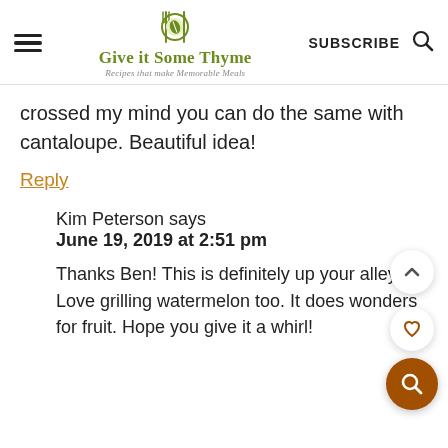Give it Some Thyme — Recipes that make Memorable Meals | SUBSCRIBE
crossed my mind you can do the same with cantaloupe. Beautiful idea!
Reply
Kim Peterson says
June 19, 2019 at 2:51 pm
Thanks Ben! This is definitely up your alley. Love grilling watermelon too. It does wonders for fruit. Hope you give it a whirl!